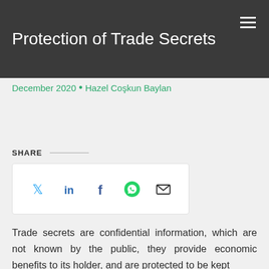Protection of Trade Secrets
December 2020  •  Hazel Coşkun Baylan
SHARE
[Figure (other): Social share icons: Twitter, LinkedIn, Facebook, WhatsApp, Email]
Trade secrets are confidential information, which are not known by the public, they provide economic benefits to its holder, and are protected to be kept